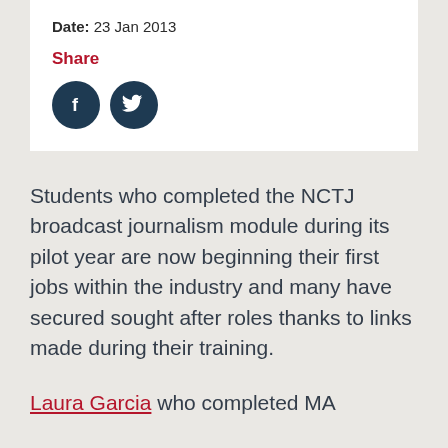Date: 23 Jan 2013
Share
[Figure (other): Social share buttons: Facebook and Twitter icons (dark navy circles with white f and bird logos)]
Students who completed the NCTJ broadcast journalism module during its pilot year are now beginning their first jobs within the industry and many have secured sought after roles thanks to links made during their training.
Laura Garcia who completed MA